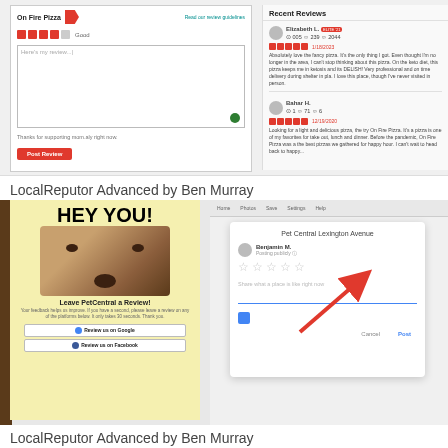[Figure (screenshot): Yelp review submission interface for 'On Fire Pizza' with star rating boxes and text area, alongside a 'Recent Reviews' panel showing two reviewer entries (Elizabeth L. and Bahar H.) with 5-star ratings and review text.]
LocalReputor Advanced by Ben Murray
[Figure (screenshot): Two-panel screenshot: left panel shows a yellow 'HEY YOU!' flyer with a dog photo prompting users to 'Leave PetCentral a Review!' with Google and Facebook review buttons; right panel shows a Google review dialog box for 'Pet Central Lexington Avenue' with user 'Benjamin M.' posting publicly, empty star rating, and text input area with a red arrow pointing to it.]
LocalReputor Advanced by Ben Murray